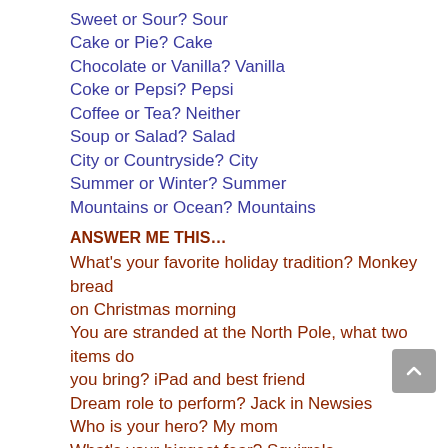Sweet or Sour? Sour
Cake or Pie? Cake
Chocolate or Vanilla? Vanilla
Coke or Pepsi? Pepsi
Coffee or Tea? Neither
Soup or Salad? Salad
City or Countryside? City
Summer or Winter? Summer
Mountains or Ocean? Mountains
ANSWER ME THIS…
What's your favorite holiday tradition?  Monkey bread on Christmas morning
You are stranded at the North Pole, what two items do you bring? iPad and best friend
Dream role to perform? Jack in Newsies
Who is your hero? My mom
What's your biggest fear? Squirrels
What inspires you? Outcomes